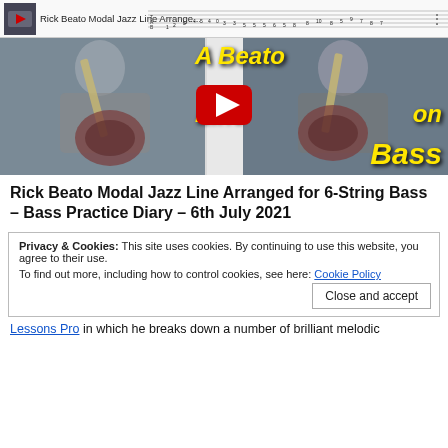[Figure (screenshot): YouTube video thumbnail showing 'Rick Beato Modal Jazz Line Arrange...' with guitar tab notation strip at top and two guitar players in background with yellow italic text overlay reading 'A Beato Line on Bass' and a red YouTube play button in center]
Rick Beato Modal Jazz Line Arranged for 6-String Bass – Bass Practice Diary – 6th July 2021
Privacy & Cookies: This site uses cookies. By continuing to use this website, you agree to their use.
To find out more, including how to control cookies, see here: Cookie Policy
Close and accept
Lessons Pro in which he breaks down a number of brilliant melodic